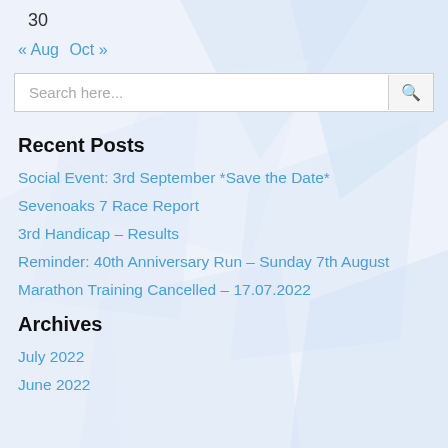30
« Aug  Oct »
Search here...
Recent Posts
Social Event: 3rd September *Save the Date*
Sevenoaks 7 Race Report
3rd Handicap – Results
Reminder: 40th Anniversary Run – Sunday 7th August
Marathon Training Cancelled – 17.07.2022
Archives
July 2022
June 2022